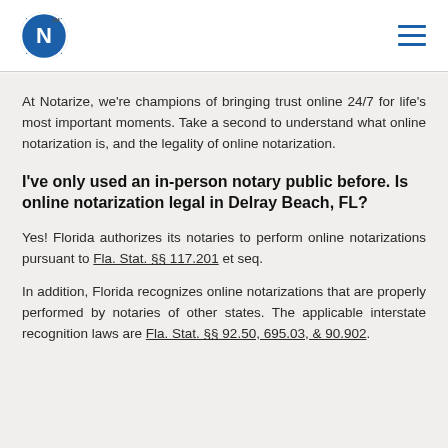Notarize logo and navigation menu
At Notarize, we're champions of bringing trust online 24/7 for life's most important moments. Take a second to understand what online notarization is, and the legality of online notarization.
I've only used an in-person notary public before. Is online notarization legal in Delray Beach, FL?
Yes! Florida authorizes its notaries to perform online notarizations pursuant to Fla. Stat. §§ 117.201 et seq.
In addition, Florida recognizes online notarizations that are properly performed by notaries of other states. The applicable interstate recognition laws are Fla. Stat. §§ 92.50, 695.03, & 90.902.